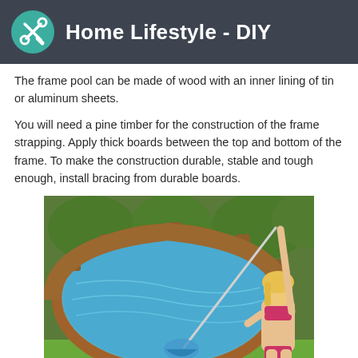Home Lifestyle - DIY
The frame pool can be made of wood with an inner lining of tin or aluminum sheets.
You will need a pine timber for the construction of the frame strapping. Apply thick boards between the top and bottom of the frame. To make the construction durable, stable and tough enough, install bracing from durable boards.
[Figure (photo): A woman in a bikini cleaning a round above-ground pool with a wooden frame using a long-handled leaf net, in a garden setting.]